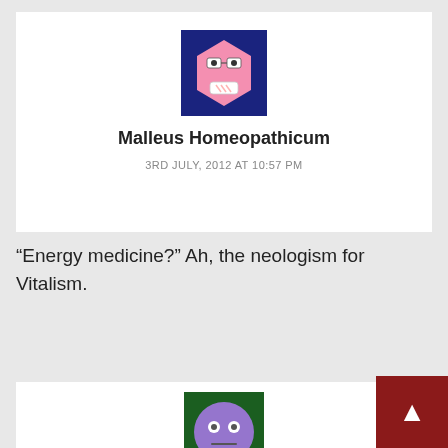[Figure (illustration): Avatar icon: pink hexagon shape with face wearing glasses and bandage, on dark navy background]
Malleus Homeopathicum
3RD JULY, 2012 AT 10:57 PM
“Energy medicine?” Ah, the neologism for Vitalism.
[Figure (illustration): Avatar icon: purple round smiley face with neutral expression, on dark green background]
Will
3RD JULY, 2012 AT 11:01 PM